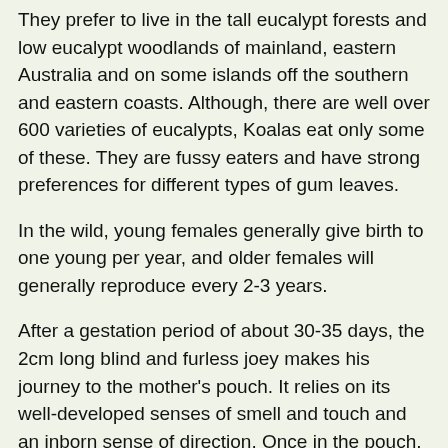They prefer to live in the tall eucalypt forests and low eucalypt woodlands of mainland, eastern Australia and on some islands off the southern and eastern coasts. Although, there are well over 600 varieties of eucalypts, Koalas eat only some of these. They are fussy eaters and have strong preferences for different types of gum leaves.
In the wild, young females generally give birth to one young per year, and older females will generally reproduce every 2-3 years.
After a gestation period of about 30-35 days, the 2cm long blind and furless joey makes his journey to the mother's pouch. It relies on its well-developed senses of smell and touch and an inborn sense of direction. Once in the pouch, it attaches itself to one of the two teats. The joey stays in its mother's pouch for about 6 to 7 months, drinking only milk.
Before it can tolerate gum leaves, which are toxic for most mammals, the joey must feed on a substance called 'pap' which is a specialized form of the mother's droppings that is soft and runny. This allows the mother to pass on to the joey special micro-organisms from her intestine which are necessary for it to be able to digest the gum leaves. It feeds on this for a period of up to a few